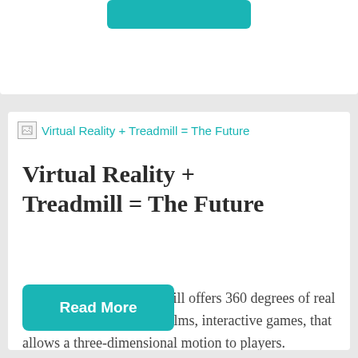[Figure (other): Broken image placeholder with teal link text reading: Virtual Reality + Treadmill = The Future]
Virtual Reality + Treadmill = The Future
This virtual reality treadmill offers 360 degrees of real simulation, stereoscopic films, interactive games, that allows a three-dimensional motion to players.
Read More